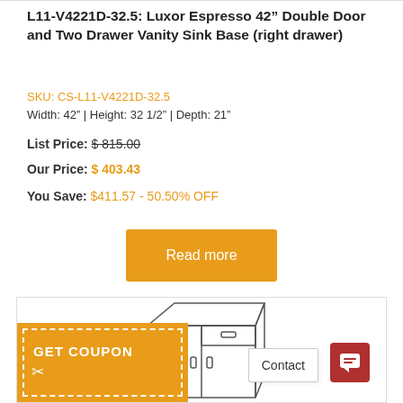L11-V4221D-32.5: Luxor Espresso 42" Double Door and Two Drawer Vanity Sink Base (right drawer)
SKU: CS-L11-V4221D-32.5
Width: 42" | Height: 32 1/2" | Depth: 21"
List Price: $ 815.00
Our Price: $ 403.43
You Save: $411.57 - 50.50% OFF
[Figure (screenshot): Orange 'Read more' button]
[Figure (illustration): Product sketch of vanity cabinet with GET COUPON overlay, Contact button, and chat button]